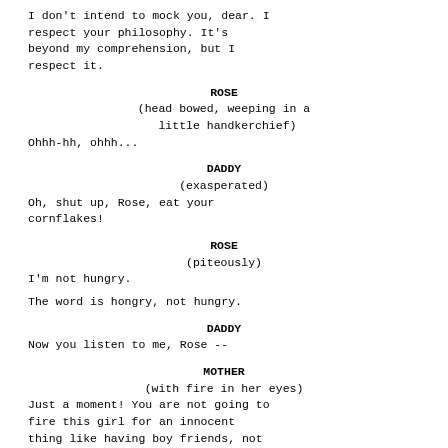I don't intend to mock you, dear. I respect your philosophy. It's beyond my comprehension, but I respect it.
ROSE
(head bowed, weeping in a little handkerchief)
Ohhh-hh, ohhh...
DADDY
(exasperated)
Oh, shut up, Rose, eat your cornflakes!
ROSE
(piteously)
I'm not hungry.
The word is hongry, not hungry.
DADDY
Now you listen to me, Rose --
MOTHER
(with fire in her eyes)
Just a moment! You are not going to fire this girl for an innocent thing like having boy friends, not while there is breath in my body!
DADDY